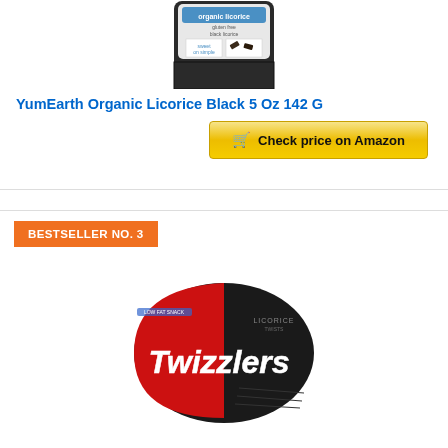[Figure (photo): YumEarth Organic Licorice product package - gluten free black licorice bag, sweet on simple branding, NET WT 5 OZ (142g)]
YumEarth Organic Licorice Black 5 Oz 142 G
[Figure (other): Check price on Amazon button with cart icon]
BESTSELLER NO. 3
[Figure (photo): Twizzlers Black Licorice candy bag - red and black packaging with Twizzlers logo]